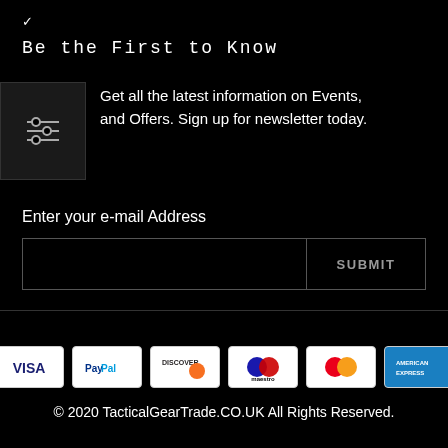✓
Be the First to Know
Get all the latest information on Events, and Offers. Sign up for newsletter today.
[Figure (illustration): Filter/settings icon with three horizontal sliders]
Enter your e-mail Address
[Figure (screenshot): Email input field and SUBMIT button]
[Figure (infographic): Payment method icons: VISA, PayPal, Discover, Maestro, Mastercard, American Express]
© 2020 TacticalGearTrade.CO.UK All Rights Reserved.